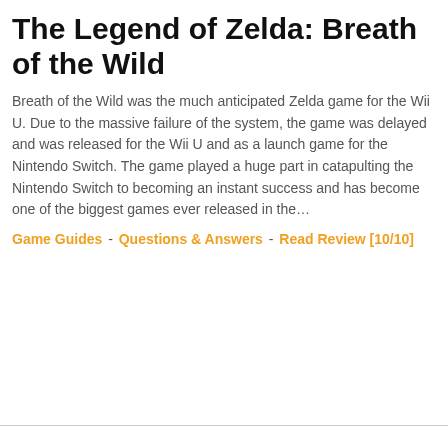The Legend of Zelda: Breath of the Wild
Breath of the Wild was the much anticipated Zelda game for the Wii U. Due to the massive failure of the system, the game was delayed and was released for the Wii U and as a launch game for the Nintendo Switch. The game played a huge part in catapulting the Nintendo Switch to becoming an instant success and has become one of the biggest games ever released in the…
Game Guides - Questions & Answers - Read Review [10/10]